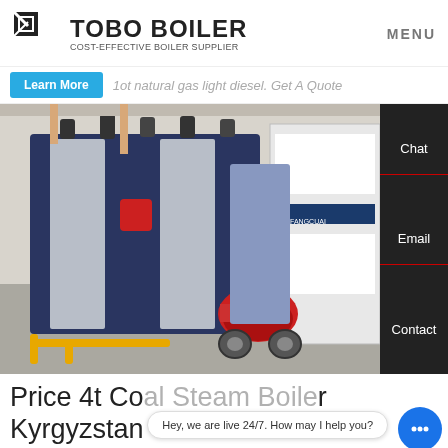[Figure (logo): TOBO BOILER logo with geometric icon and tagline 'COST-EFFECTIVE BOILER SUPPLIER']
MENU
1ot natural gas light diesel. Get A Quote
Learn More
[Figure (photo): Industrial boiler equipment in a factory setting, showing large dark blue and silver boiler units with a red burner attachment and yellow piping on the floor]
Chat
Email
Contact
Price 4t Coal Steam Boiler Kyrgyzstan
Hey, we are live 24/7. How may I help you?